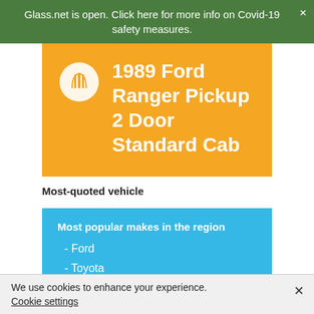Glass.net is open. Click here for more info on Covid-19 safety measures.
1989 Ford Ranger Pickup 2 Door Standard Cab
Most-quoted vehicle
Most popular makes in the region
- Ford
- Toyota
- Honda
We use cookies to enhance your experience. Cookie settings